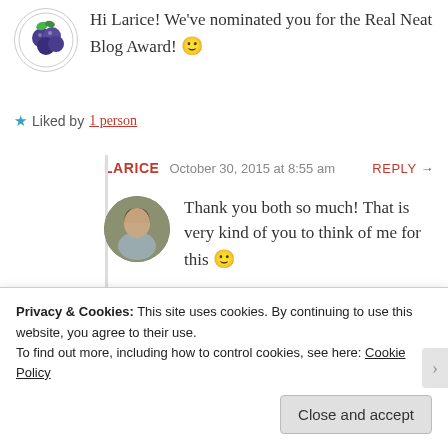Hi Larice! We've nominated you for the Real Neat Blog Award! 🙂
★ Liked by 1 person
LARICE  October 30, 2015 at 8:55 am  REPLY →
Thank you both so much! That is very kind of you to think of me for this 🙂
★ Liked by 1 person
Privacy & Cookies: This site uses cookies. By continuing to use this website, you agree to their use.
To find out more, including how to control cookies, see here: Cookie Policy
Close and accept